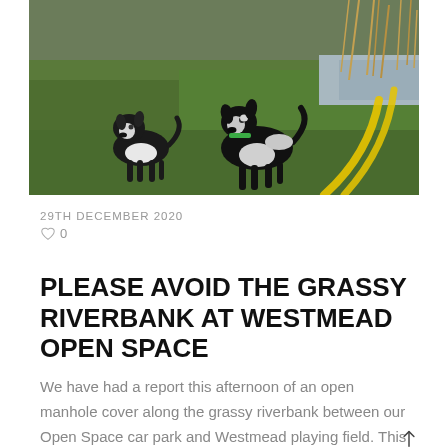[Figure (photo): Two black and white dogs standing on a grassy riverbank. A yellow spray-painted circular arc mark is visible on the right side of the grass, and dry reeds/water are visible in the background.]
29TH DECEMBER 2020
♡ 0
PLEASE AVOID THE GRASSY RIVERBANK AT WESTMEAD OPEN SPACE
We have had a report this afternoon of an open manhole cover along the grassy riverbank between our Open Space car park and Westmead playing field. This issue is